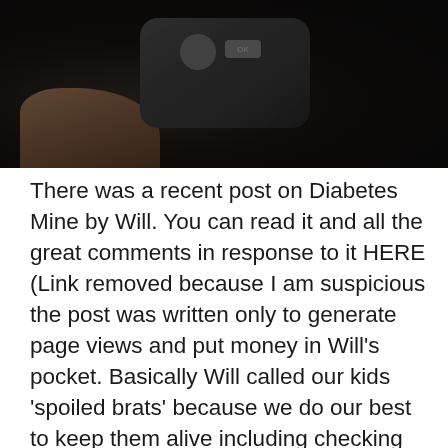[Figure (photo): Dark photo of a hand holding a medical device (blood glucose meter or similar), shot in low light. The device has buttons including one labeled OK and a d-pad style control.]
There was a recent post on Diabetes Mine by Will. You can read it and all the great comments in response to it HERE (Link removed because I am suspicious the post was written only to generate page views and put money in Will's pocket. Basically Will called our kids 'spoiled brats' because we do our best to keep them alive including checking blood sugars at night. If I'm wrong Will is welcome to leave his thoughts